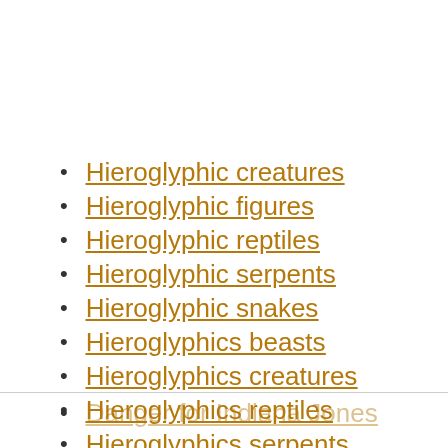Hieroglyphic creatures
Hieroglyphic figures
Hieroglyphic reptiles
Hieroglyphic serpents
Hieroglyphic snakes
Hieroglyphics beasts
Hieroglyphics creatures
Hieroglyphics reptiles
Hieroglyphics serpents
Hieroglyphics snakes
Danger for Indiana Jones